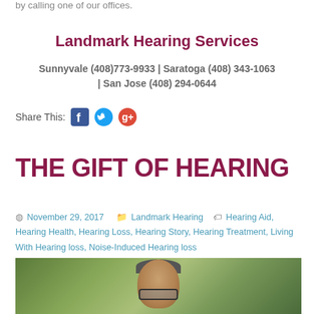by calling one of our offices.
Landmark Hearing Services
Sunnyvale (408)773-9933 | Saratoga (408) 343-1063 | San Jose (408) 294-0644
Share This:
THE GIFT OF HEARING
November 29, 2017   Landmark Hearing   Hearing Aid, Hearing Health, Hearing Loss, Hearing Story, Hearing Treatment, Living With Hearing loss, Noise-Induced Hearing loss
[Figure (photo): Outdoor photo of a man wearing sunglasses, with green foliage in the background]